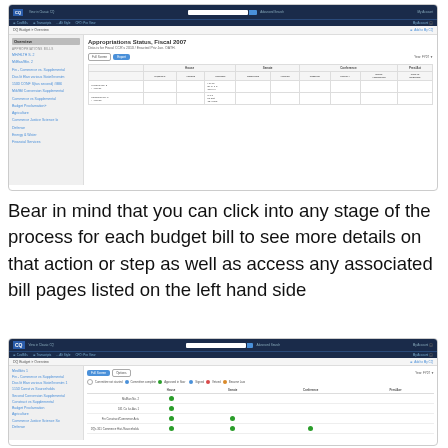[Figure (screenshot): Screenshot of a government budget tracking web application showing Appropriations Status for Fiscal 2007 with a sidebar navigation listing various budget bills and a main content area with a table showing fiscal appropriations data]
Bear in mind that you can click into any stage of the process for each budget bill to see more details on that action or step as well as access any associated bill pages listed on the left hand side
[Figure (screenshot): Screenshot of CQ government budget tracking website showing DQ Budget Overview page with a sidebar of budget bill links and a main table showing status of bills with colored dot indicators for Committee not started, Committee complete, Approved in floor, Signed, Vetoed, and Became law columns]